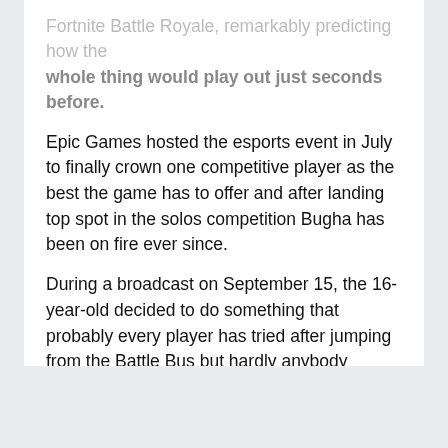Fortnite Battle Royale, remarkably predicting how the whole thing would play out just seconds before.
Epic Games hosted the esports event in July to finally crown one competitive player as the best the game has to offer and after landing top spot in the solos competition Bugha has been on fire ever since.
During a broadcast on September 15, the 16-year-old decided to do something that probably every player has tried after jumping from the Battle Bus but hardly anybody succeeds – firing at people miles away as they fall from the sky.